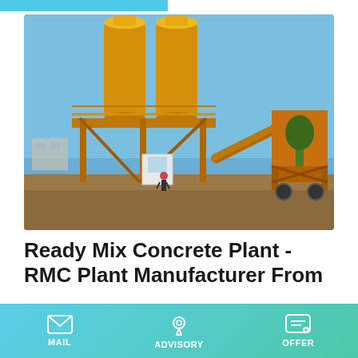[Figure (photo): Outdoor photo of a yellow ready mix concrete batching plant with two tall cylindrical silos, conveyor belt, and support structures on a construction site under a blue sky.]
Ready Mix Concrete Plant - RMC Plant Manufacturer From
CONCRETE BATCHING PLANT PROCESS FLOW. The process flow for stationary concrete batch plant will start from
MAIL   ADVISORY   OFFER